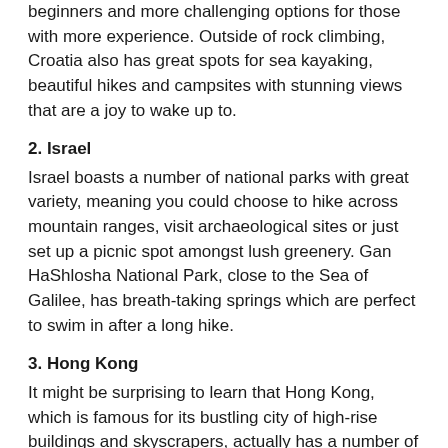beginners and more challenging options for those with more experience. Outside of rock climbing, Croatia also has great spots for sea kayaking, beautiful hikes and campsites with stunning views that are a joy to wake up to.
2. Israel
Israel boasts a number of national parks with great variety, meaning you could choose to hike across mountain ranges, visit archaeological sites or just set up a picnic spot amongst lush greenery. Gan HaShlosha National Park, close to the Sea of Galilee, has breath-taking springs which are perfect to swim in after a long hike.
3. Hong Kong
It might be surprising to learn that Hong Kong, which is famous for its bustling city of high-rise buildings and skyscrapers, actually has a number of amazing hikes that show a completely different side of this destination. What’s great is that the hiking trails vary in their style and difficultly, so you can pick one which suits you. The most popular hike is Dragon’s Back Hike which will take 2-3 hours and has views over the area’s rugged coastline.